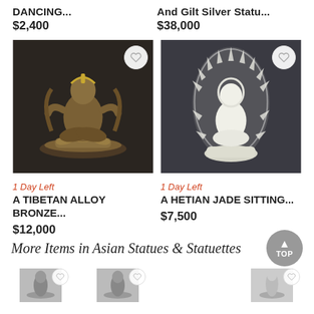DANCING...
$2,400
And Gilt Silver Statu...
$38,000
[Figure (photo): Bronze Tibetan alloy figure of a seated deity on a lotus throne]
1 Day Left
A TIBETAN ALLOY BRONZE...
$12,000
[Figure (photo): White Hetian jade carving of a seated figure with decorative surround]
1 Day Left
A HETIAN JADE SITTING...
$7,500
More Items in Asian Statues & Statuettes